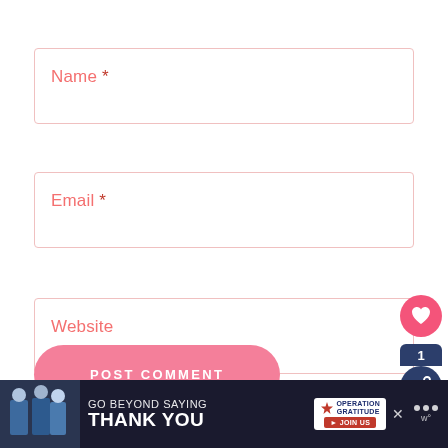Name *
Email *
Website
POST COMMENT
[Figure (screenshot): Pink heart icon button and dark blue share button with count badge showing 1]
[Figure (infographic): Operation Gratitude ad banner: GO BEYOND SAYING THANK YOU with join us button, military personnel photo, dark background]